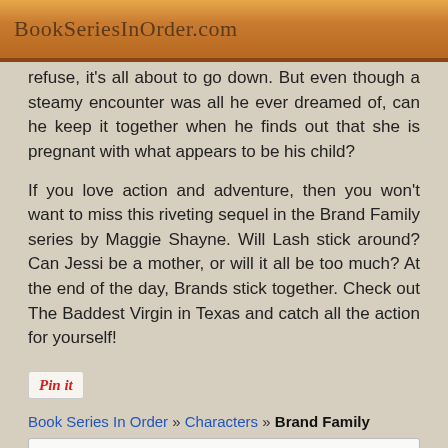BookSeriesInOrder.com
refuse, it's all about to go down. But even though a steamy encounter was all he ever dreamed of, can he keep it together when he finds out that she is pregnant with what appears to be his child?
If you love action and adventure, then you won't want to miss this riveting sequel in the Brand Family series by Maggie Shayne. Will Lash stick around? Can Jessi be a mother, or will it all be too much? At the end of the day, Brands stick together. Check out The Baddest Virgin in Texas and catch all the action for yourself!
[Figure (other): Pin it button]
Book Series In Order » Characters » Brand Family
Leave a Reply
Name — Name (required) input field
Email — Email (required) input field